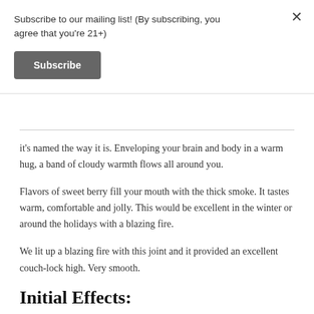Subscribe to our mailing list! (By subscribing, you agree that you're 21+)
Subscribe
it's named the way it is. Enveloping your brain and body in a warm hug, a band of cloudy warmth flows all around you.
Flavors of sweet berry fill your mouth with the thick smoke. It tastes warm, comfortable and jolly. This would be excellent in the winter or around the holidays with a blazing fire.
We lit up a blazing fire with this joint and it provided an excellent couch-lock high. Very smooth.
Initial Effects: